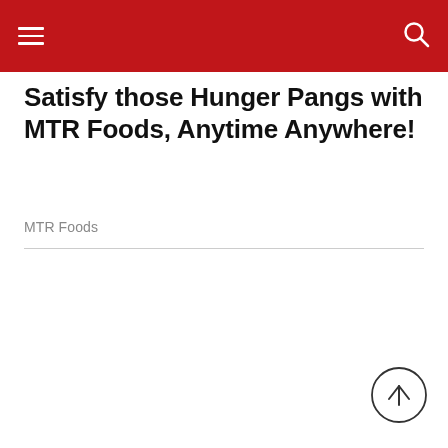Navigation bar with hamburger menu and search icon
Satisfy those Hunger Pangs with MTR Foods, Anytime Anywhere!
MTR Foods